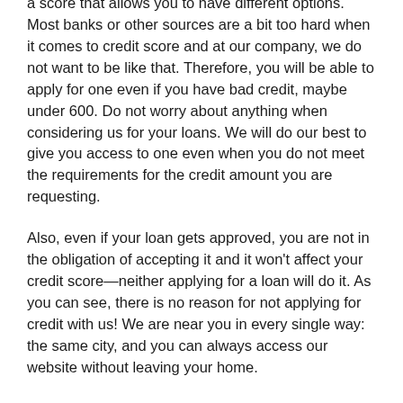a score that allows you to have different options. Most banks or other sources are a bit too hard when it comes to credit score and at our company, we do not want to be like that. Therefore, you will be able to apply for one even if you have bad credit, maybe under 600. Do not worry about anything when considering us for your loans. We will do our best to give you access to one even when you do not meet the requirements for the credit amount you are requesting.
Also, even if your loan gets approved, you are not in the obligation of accepting it and it won't affect your credit score—neither applying for a loan will do it. As you can see, there is no reason for not applying for credit with us! We are near you in every single way: the same city, and you can always access our website without leaving your home.